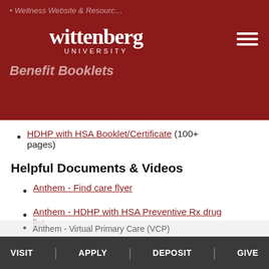Wittenberg University — Benefit Booklets
HDHP with HSA Booklet/Certificate (100+ pages)
Helpful Documents & Videos
Anthem - Find care flyer
Anthem - HDHP with HSA Preventive Rx drug list
Anthem - Covered Preventive Services
Anthem - NurseLine flyer
Anthem - Virtual Primary Care (VPC)
Claim form - Jesanie Rx Anthem Preventive
VISIT | APPLY | DEPOSIT | GIVE